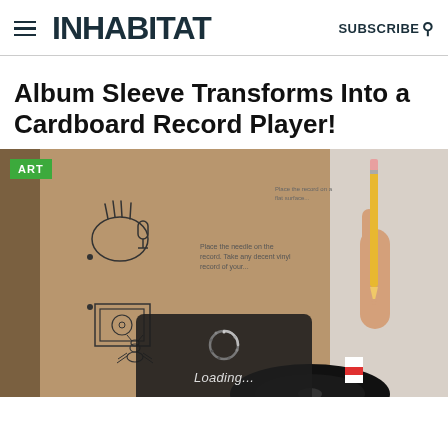INHABITAT  SUBSCRIBE
Album Sleeve Transforms Into a Cardboard Record Player!
[Figure (photo): A cardboard album sleeve with illustrated instructions drawn on it, showing how to transform it into a record player. A hand holds a pencil in the right portion of the image. A vinyl record is partially visible at the bottom center. A small loading overlay with spinner and 'Loading...' text appears at the bottom center.]